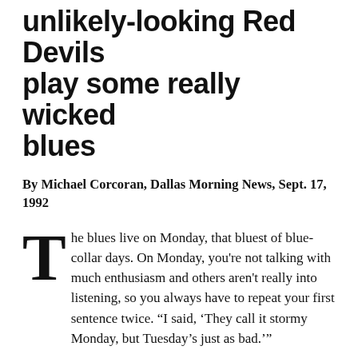unlikely-looking Red Devils play some really wicked blues
By Michael Corcoran, Dallas Morning News, Sept. 17, 1992
The blues live on Monday, that bluest of blue-collar days. On Monday, you're not talking with much enthusiasm and others aren't really into listening, so you always have to repeat your first sentence twice. “I said, ‘They call it stormy Monday, but Tuesday’s just as bad.’”
On Mondays in Los Angeles, the blues not only live, they own the place. For the past four years, Monday